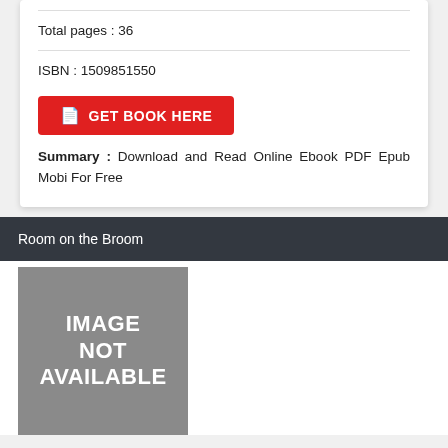Total pages : 36
ISBN : 1509851550
GET BOOK HERE
Summary : Download and Read Online Ebook PDF Epub Mobi For Free
Room on the Broom
[Figure (illustration): Gray placeholder rectangle with white bold text reading IMAGE NOT AVAILABLE]